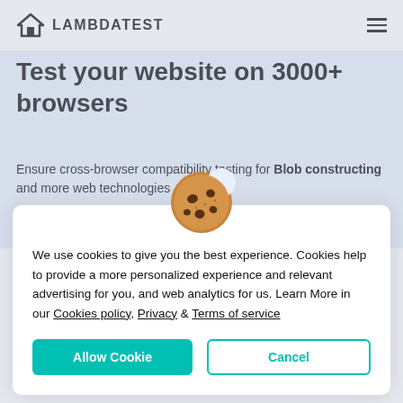LAMBDATEST
Test your website on 3000+ browsers
Ensure cross-browser compatibility testing for Blob constructing and more web technologies
[Figure (illustration): Cookie emoji illustration — round brown cookie with chocolate chips]
We use cookies to give you the best experience. Cookies help to provide a more personalized experience and relevant advertising for you, and web analytics for us. Learn More in our Cookies policy, Privacy & Terms of service
Allow Cookie  Cancel